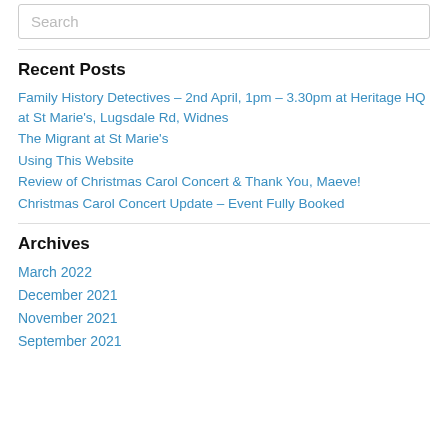Search
Recent Posts
Family History Detectives – 2nd April, 1pm – 3.30pm at Heritage HQ at St Marie's, Lugsdale Rd, Widnes
The Migrant at St Marie's
Using This Website
Review of Christmas Carol Concert & Thank You, Maeve!
Christmas Carol Concert Update – Event Fully Booked
Archives
March 2022
December 2021
November 2021
September 2021